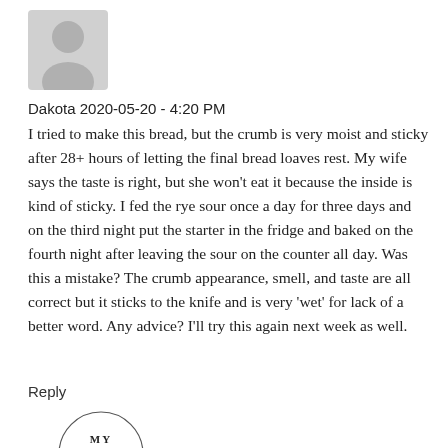[Figure (illustration): Gray silhouette avatar placeholder image of a generic person]
Dakota 2020-05-20 - 4:20 PM
I tried to make this bread, but the crumb is very moist and sticky after 28+ hours of letting the final bread loaves rest. My wife says the taste is right, but she won't eat it because the inside is kind of sticky. I fed the rye sour once a day for three days and on the third night put the starter in the fridge and baked on the fourth night after leaving the sour on the counter all day. Was this a mistake? The crumb appearance, smell, and taste are all correct but it sticks to the knife and is very 'wet' for lack of a better word. Any advice? I'll try this again next week as well.
Reply
[Figure (logo): My Vintage Cooking circular logo with botanical decorations and text reading MY VINTAGE COOKING]